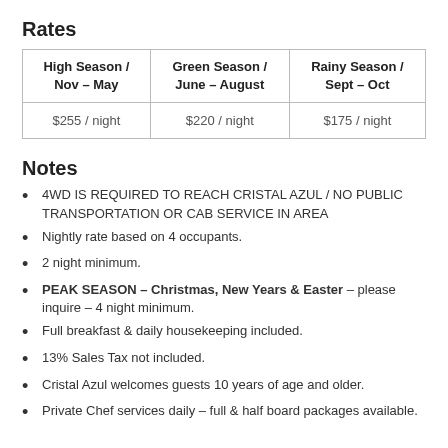Rates
| High Season / Nov – May | Green Season / June – August | Rainy Season / Sept – Oct |
| --- | --- | --- |
| $255 / night | $220 / night | $175 / night |
Notes
4WD IS REQUIRED TO REACH CRISTAL AZUL / NO PUBLIC TRANSPORTATION OR CAB SERVICE IN AREA
Nightly rate based on 4 occupants.
2 night minimum.
PEAK SEASON – Christmas, New Years & Easter – please inquire – 4 night minimum.
Full breakfast & daily housekeeping included.
13% Sales Tax not included.
Cristal Azul welcomes guests 10 years of age and older.
Private Chef services daily – full & half board packages available.